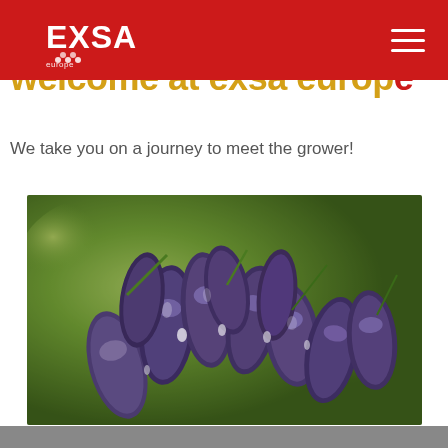EXSA Europe header with logo and hamburger menu
Welcome at exsa europe
We take you on a journey to meet the grower!
[Figure (photo): Close-up photo of elongated dark purple grapes (finger grapes) with water droplets, against a blurred green background]
[Figure (photo): Bottom strip partial image]